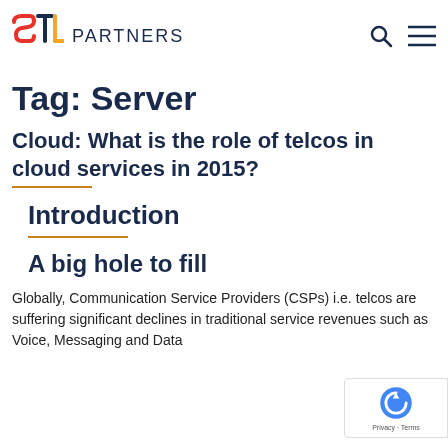STL PARTNERS
Tag: Server
Cloud: What is the role of telcos in cloud services in 2015?
Introduction
A big hole to fill
Globally, Communication Service Providers (CSPs) i.e. telcos are suffering significant declines in traditional service revenues such as Voice, Messaging and Data